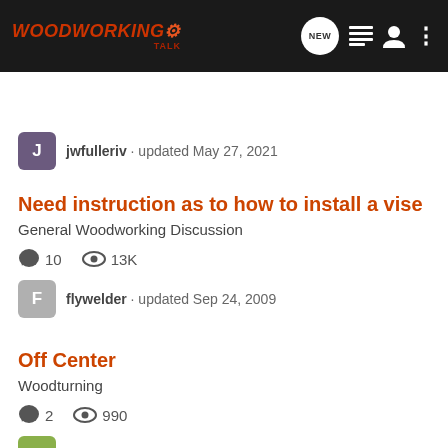WoodworkingTalk - Search Community
jwfulleriv · updated May 27, 2021
Need instruction as to how to install a vise
General Woodworking Discussion
10 replies · 13K views
flywelder · updated Sep 24, 2009
Off Center
Woodturning
2 replies · 990 views
dlouey · updated Oct 1, 2020